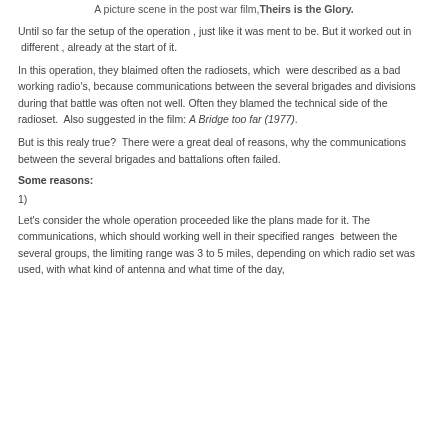A picture scene in the post war film, Theirs is the Glory.
Until so far the setup of the operation , just like it was ment to be. But it worked out in  different , already at the start of it.
In this operation, they blaimed often the radiosets, which  were described as a bad working radio's, because communications between the several brigades and divisions during that battle was often not well. Often they blamed the technical side of the radioset.  Also suggested in the film: A Bridge too far (1977).
But is this realy true?  There were a great deal of reasons, why the communications between the several brigades and battalions often failed.
Some reasons:
1)
Let's consider the whole operation proceeded like the plans made for it. The communications, which should working well in their specified ranges  between the several groups, the limiting range was 3 to 5 miles, depending on which radio set was used, with what kind of antenna and what time of the day,